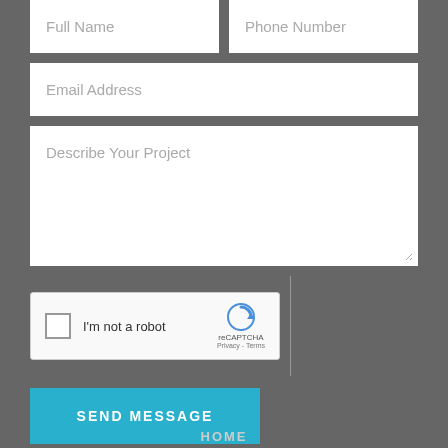Full Name
Phone Number
Email Address
Describe Your Project
[Figure (other): reCAPTCHA widget with checkbox labeled 'I'm not a robot', reCAPTCHA logo and Privacy-Terms links]
SEND MESSAGE
HOME